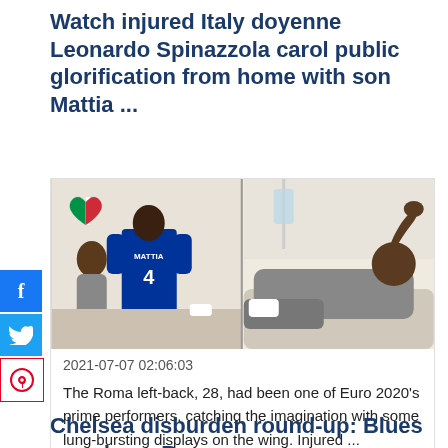Watch injured Italy doyenne Leonardo Spinazzola carol public glorification from home with son Mattia ...
[Figure (photo): Two side-by-side photos: left shows a boy in a blue Italy jersey with number 4 and name MATTIA on back, Italian flag heart visible; right shows a man (Spinazzola) lying on a couch/bed, raising his hand.]
2021-07-07 02:06:03
The Roma left-back, 28, had been one of Euro 2020's prime performers, catching the imagination with some lung-bursting displays on the wing. Injured ...
Chelsea disburden round-up: Blues parade up Ben